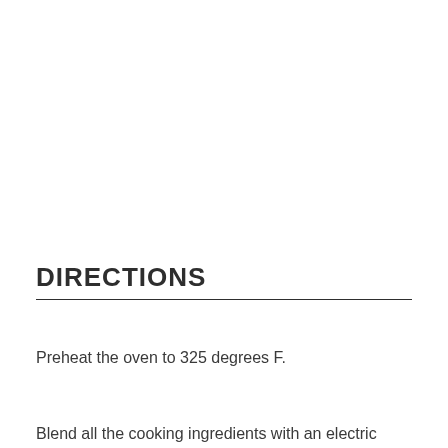DIRECTIONS
Preheat the oven to 325 degrees F.
Blend all the cooking ingredients with an electric